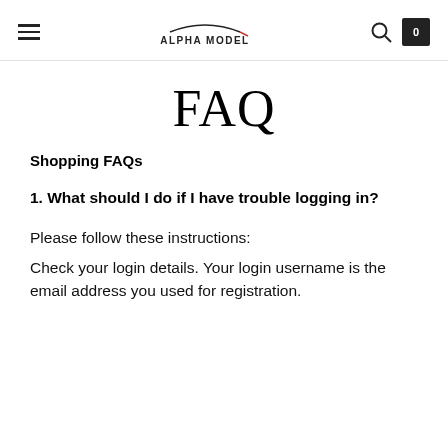Alpha Model — navigation header with hamburger menu, logo, search icon, and cart
FAQ
Shopping FAQs
1. What should I do if I have trouble logging in?
Please follow these instructions:
Check your login details. Your login username is the email address you used for registration.